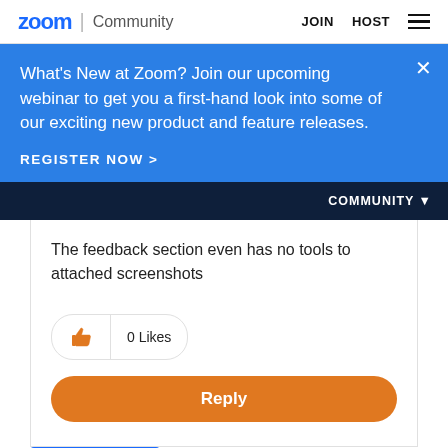zoom | Community   JOIN   HOST
What's New at Zoom? Join our upcoming webinar to get you a first-hand look into some of our exciting new product and feature releases.
REGISTER NOW >
COMMUNITY
The feedback section even has no tools to attached screenshots
0 Likes
Reply
Give Feedback